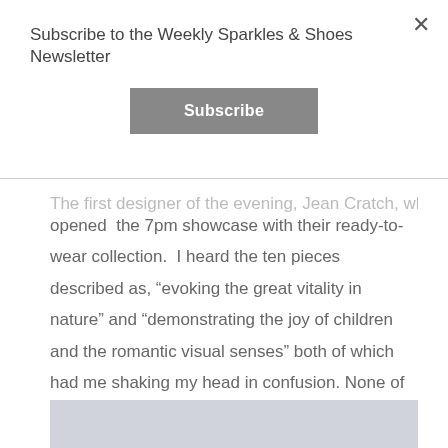Subscribe to the Weekly Sparkles & Shoes Newsletter
Subscribe
The first designer of the evening, Jean Cratch, who opened the 7pm showcase with their ready-to-wear collection. I heard the ten pieces described as, “evoking the great vitality in nature” and “demonstrating the joy of children and the romantic visual senses” both of which had me shaking my head in confusion. None of the looks that strolled down the runway were my style but my seat was perfectly positioned at the end of the model runway, see below, and the standout looks of the ten:
[Figure (photo): Gray placeholder image at bottom of page]